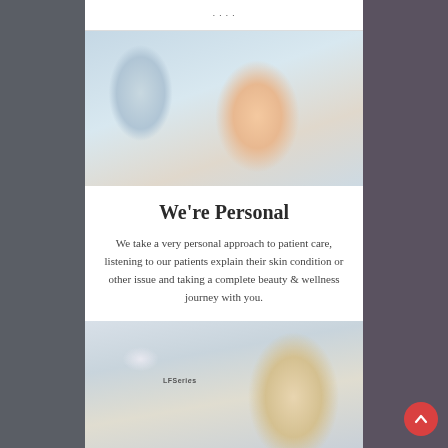[Figure (photo): A woman in a medical/aesthetic clinic setting, looking upward, touching her cheek with her hand, being examined by a practitioner in a white glove.]
We're Personal
We take a very personal approach to patient care, listening to our patients explain their skin condition or other issue and taking a complete beauty & wellness journey with you.
[Figure (photo): A woman with blonde hair in a clinical setting next to a medical device labeled 'LFSeries'.]